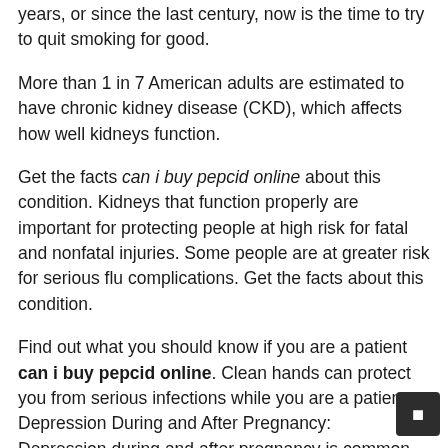years, or since the last century, now is the time to try to quit smoking for good.
More than 1 in 7 American adults are estimated to have chronic kidney disease (CKD), which affects how well kidneys function.
Get the facts can i buy pepcid online about this condition. Kidneys that function properly are important for protecting people at high risk for fatal and nonfatal injuries. Some people are at greater risk for serious flu complications. Get the facts about this condition.
Find out what you should know if you are a patient can i buy pepcid online. Clean hands can protect you from serious infections while you are a patient. Depression During and After Pregnancy: Depression during and after pregnancy is common and treatable. Whether you have smoked for 2